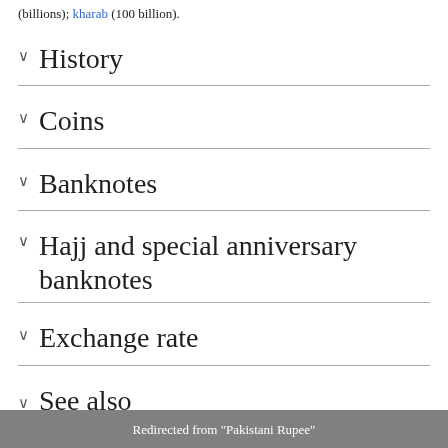(billions); kharab (100 billion).
History
Coins
Banknotes
Hajj and special anniversary banknotes
Exchange rate
See also
Redirected from "Pakistani Rupee"